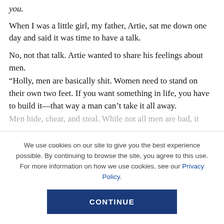you.
When I was a little girl, my father, Artie, sat me down one day and said it was time to have a talk.
No, not that talk. Artie wanted to share his feelings about men.
“Holly, men are basically shit. Women need to stand on their own two feet. If you want something in life, you have to build it—that way a man can’t take it all away. Men hide, cheat, and steal. While not all men are bad, it
We use cookies on our site to give you the best experience possible. By continuing to browse the site, you agree to this use. For more information on how we use cookies, see our Privacy Policy.
CONTINUE